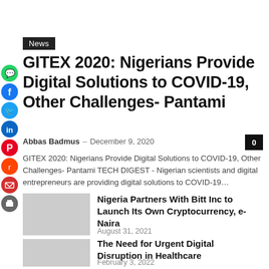News
GITEX 2020: Nigerians Provide Digital Solutions to COVID-19, Other Challenges- Pantami
Abbas Badmus – December 9, 2020
GITEX 2020: Nigerians Provide Digital Solutions to COVID-19, Other Challenges- Pantami TECH DIGEST - Nigerian scientists and digital entrepreneurs are providing digital solutions to COVID-19…
Nigeria Partners With Bitt Inc to Launch Its Own Cryptocurrency, e-Naira
August 31, 2021
The Need for Urgent Digital Disruption in Healthcare
February 3, 2022